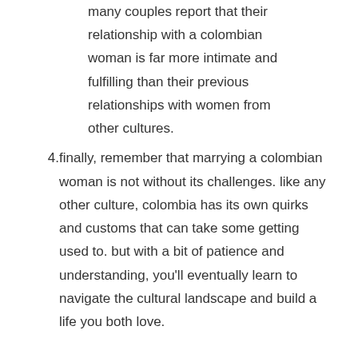many couples report that their relationship with a colombian woman is far more intimate and fulfilling than their previous relationships with women from other cultures.
4. finally, remember that marrying a colombian woman is not without its challenges. like any other culture, colombia has its own quirks and customs that can take some getting used to. but with a bit of patience and understanding, you'll eventually learn to navigate the cultural landscape and build a life you both love.